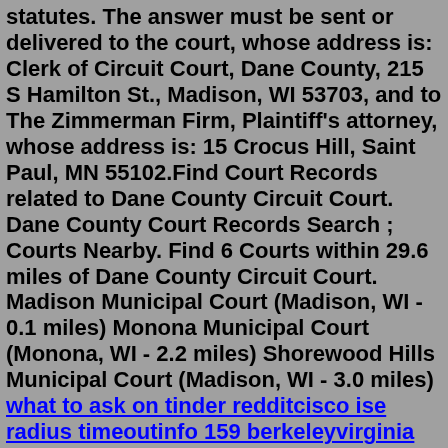statutes. The answer must be sent or delivered to the court, whose address is: Clerk of Circuit Court, Dane County, 215 S Hamilton St., Madison, WI 53703, and to The Zimmerman Firm, Plaintiff's attorney, whose address is: 15 Crocus Hill, Saint Paul, MN 55102.Find Court Records related to Dane County Circuit Court. Dane County Court Records Search ; Courts Nearby. Find 6 Courts within 29.6 miles of Dane County Circuit Court. Madison Municipal Court (Madison, WI - 0.1 miles) Monona Municipal Court (Monona, WI - 2.2 miles) Shorewood Hills Municipal Court (Madison, WI - 3.0 miles) what to ask on tinder redditcisco ise radius timeoutinfo 159 berkeleyvirginia beach house rentals with indoor pooldentists that take medicaid near mereal estate broker testfree things to do in south padre islandbusiness opportunitieslow rent apartments austinmorongo restaurantshornblower san diego schedule800xa timer manual xo